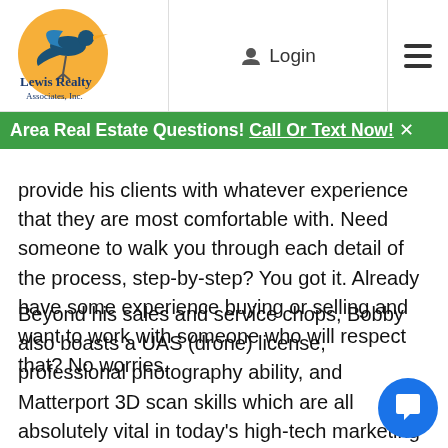Lewis Realty Associates, Inc. | Login | Menu
Area Real Estate Questions! Call Or Text Now! ×
provide his clients with whatever experience that they are most comfortable with. Need someone to walk you through each detail of the process, step-by-step? You got it. Already have some experience buying or selling and want to work with someone who will respect that? No worries.
Beyond his sales and service chops, Bobby also boasts a UAS (drone) license, professional photography ability, and Matterport 3D scan skills which are all absolutely vital in today's high-tech marketing environment. Full service. High tech. All in one (reasonably) good lo...